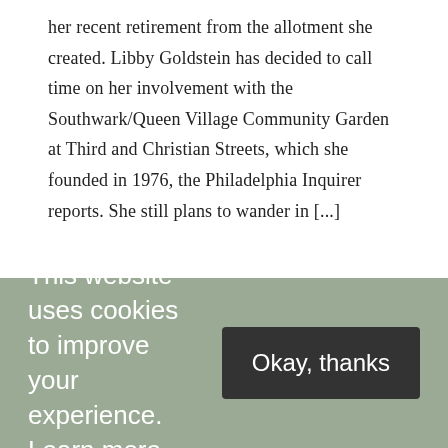her recent retirement from the allotment she created. Libby Goldstein has decided to call time on her involvement with the Southwark/Queen Village Community Garden at Third and Christian Streets, which she founded in 1976, the Philadelphia Inquirer reports. She still plans to wander in [...]
Read more
JUNE 30, 2011
This website uses cookies to improve your experience. Learn more